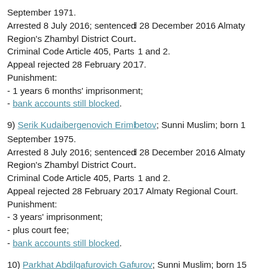September 1971.
Arrested 8 July 2016; sentenced 28 December 2016 Almaty Region's Zhambyl District Court.
Criminal Code Article 405, Parts 1 and 2.
Appeal rejected 28 February 2017.
Punishment:
- 1 years 6 months' imprisonment;
- bank accounts still blocked.
9) Serik Kudaibergenovich Erimbetov; Sunni Muslim; born 1 September 1975.
Arrested 8 July 2016; sentenced 28 December 2016 Almaty Region's Zhambyl District Court.
Criminal Code Article 405, Parts 1 and 2.
Appeal rejected 28 February 2017 Almaty Regional Court.
Punishment:
- 3 years' imprisonment;
- plus court fee;
- bank accounts still blocked.
10) Parkhat Abdilgafurovich Gafurov; Sunni Muslim; born 15 November 1977.
Arrested 8 July 2016; sentenced 28 December 2016 Almaty